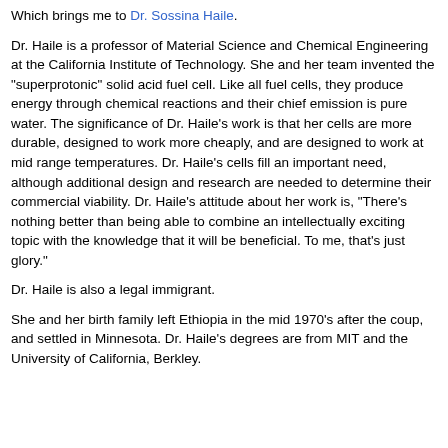Which brings me to Dr. Sossina Haile.
Dr. Haile is a professor of Material Science and Chemical Engineering at the California Institute of Technology. She and her team invented the "superprotonic" solid acid fuel cell. Like all fuel cells, they produce energy through chemical reactions and their chief emission is pure water. The significance of Dr. Haile's work is that her cells are more durable, designed to work more cheaply, and are designed to work at mid range temperatures. Dr. Haile's cells fill an important need, although additional design and research are needed to determine their commercial viability. Dr. Haile's attitude about her work is, "There's nothing better than being able to combine an intellectually exciting topic with the knowledge that it will be beneficial. To me, that's just glory."
Dr. Haile is also a legal immigrant.
She and her birth family left Ethiopia in the mid 1970's after the coup, and settled in Minnesota. Dr. Haile's degrees are from MIT and the University of California, Berkley.